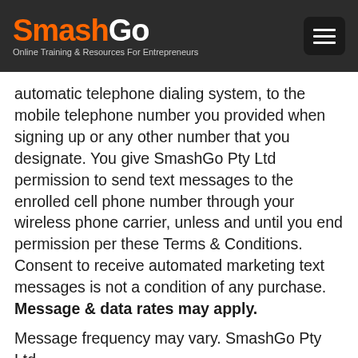SmashGo — Online Training & Resources For Entrepreneurs
automatic telephone dialing system, to the mobile telephone number you provided when signing up or any other number that you designate. You give SmashGo Pty Ltd permission to send text messages to the enrolled cell phone number through your wireless phone carrier, unless and until you end permission per these Terms & Conditions. Consent to receive automated marketing text messages is not a condition of any purchase. Message & data rates may apply.
Message frequency may vary. SmashGo Pty Ltd